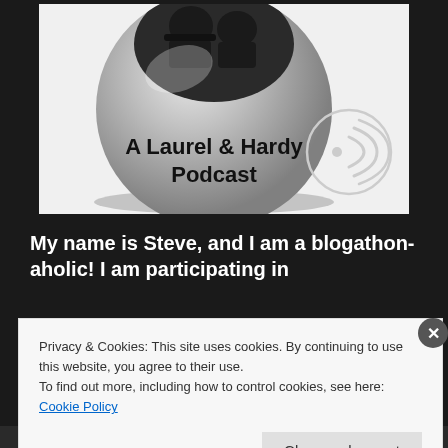[Figure (illustration): A grayscale illustration of a spherical ball with a photo of two men (Laurel & Hardy) on top, text reading 'A Laurel & Hardy Podcast' on the ball, and a podcast/audio icon (circular waves from a dot) in the lower right of the image area.]
My name is Steve, and I am a blogathon-aholic! I am participating in
Privacy & Cookies: This site uses cookies. By continuing to use this website, you agree to their use.
To find out more, including how to control cookies, see here: Cookie Policy
Close and accept